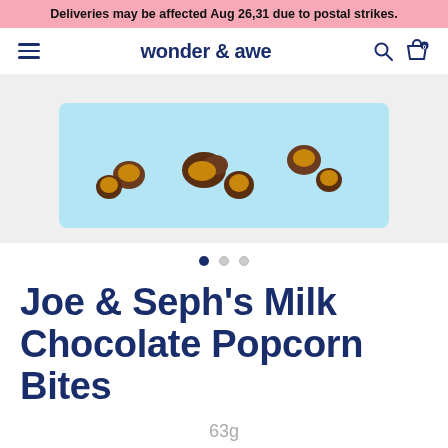Deliveries may be affected Aug 26,31 due to postal strikes.
wonder & awe
[Figure (photo): Product photo of Joe & Seph's Milk Chocolate Popcorn Bites on a light blue background, showing several chocolate-covered popcorn pieces]
● ○ ○ (carousel dots)
Joe & Seph's Milk Chocolate Popcorn Bites
63g